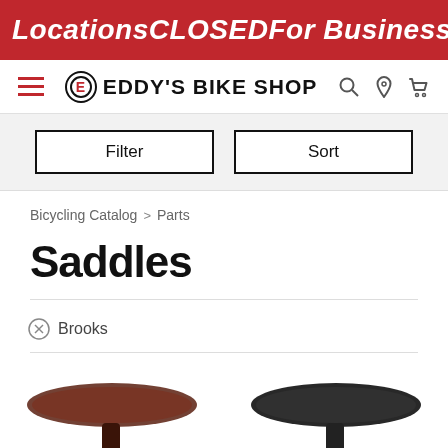Locations CLOSED For Business Labor
[Figure (logo): Eddy's Bike Shop logo with navigation icons]
Filter | Sort
Bicycling Catalog > Parts
Saddles
× Brooks
[Figure (photo): Bottom of page showing two bicycle saddles partially visible]